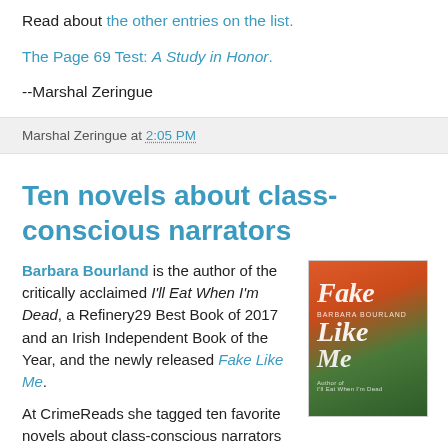Read about the other entries on the list.
The Page 69 Test: A Study in Honor.
--Marshal Zeringue
Marshal Zeringue at 2:05 PM
Ten novels about class-conscious narrators
Barbara Bourland is the author of the critically acclaimed I'll Eat When I'm Dead, a Refinery29 Best Book of 2017 and an Irish Independent Book of the Year, and the newly released Fake Like Me.
[Figure (photo): Book cover of 'Fake Like Me' by Barbara Bourland, with a green and orange illustrated cover]
At CrimeReads she tagged ten favorite novels about class-conscious narrators